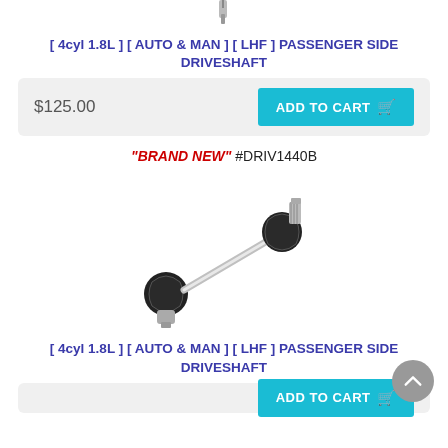[Figure (photo): Partial view of a driveshaft component at the top of the page (cropped)]
[ 4cyl 1.8L ] [ AUTO & MAN ] [ LHF ] PASSENGER SIDE DRIVESHAFT
$125.00  ADD TO CART
"BRAND NEW" #DRIV1440B
[Figure (photo): Full driveshaft assembly showing CV joints and axle shaft on white background]
[ 4cyl 1.8L ] [ AUTO & MAN ] [ LHF ] PASSENGER SIDE DRIVESHAFT
ADD TO CART (partial, bottom of page)